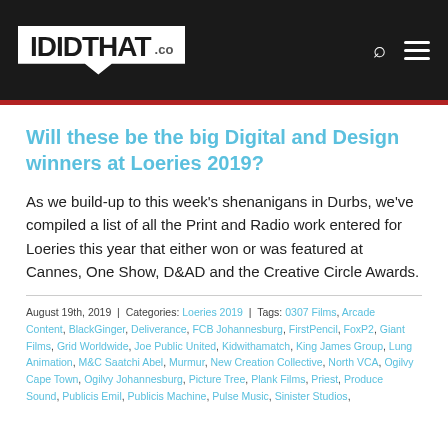I DID THAT .co
Will these be the big Digital and Design winners at Loeries 2019?
As we build-up to this week's shenanigans in Durbs, we've compiled a list of all the Print and Radio work entered for Loeries this year that either won or was featured at Cannes, One Show, D&AD and the Creative Circle Awards.
August 19th, 2019 | Categories: Loeries 2019 | Tags: 0307 Films, Arcade Content, BlackGinger, Deliverance, FCB Johannesburg, FirstPencil, FoxP2, Giant Films, Grid Worldwide, Joe Public United, Kidwithamatch, King James Group, Lung Animation, M&C Saatchi Abel, Murmur, New Creation Collective, North VCA, Ogilvy Cape Town, Ogilvy Johannesburg, Picture Tree, Plank Films, Priest, Produce Sound, Publicis Emil, Publicis Machine, Pulse Music, Sinister Studios,